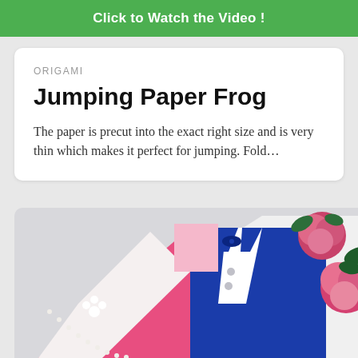Click to Watch the Video!
ORIGAMI
Jumping Paper Frog
The paper is precut into the exact right size and is very thin which makes it perfect for jumping. Fold…
[Figure (photo): Photo of a handmade origami paper card showing a wedding couple design — blue suit with white shirt and bow tie on the right, pink and white wedding dress with pearl decorations and small white flowers on the left. Pink roses visible in the top right corner. The card is photographed on a light gray surface.]